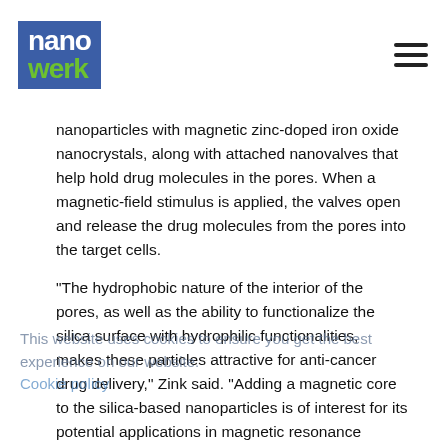nanowerk
nanoparticles with magnetic zinc-doped iron oxide nanocrystals, along with attached nanovalves that help hold drug molecules in the pores. When a magnetic-field stimulus is applied, the valves open and release the drug molecules from the pores into the target cells.
"The hydrophobic nature of the interior of the pores, as well as the ability to functionalize the silica surface with hydrophilic functionalities, makes these particles attractive for anti-cancer drug delivery," Zink said. "Adding a magnetic core to the silica-based nanoparticles is of interest for its potential applications in magnetic resonance imaging, as addition of the magnetic core may make it useful as a contrast agent."
For this study, nanoparticles carrying the anti-cancer drug doxorubicin were introduced to and endocytosed by breast cancer cells. When the cancer cells containing the nanoparticles were then exposed to an oscillating magnetic field, cell death occurred.